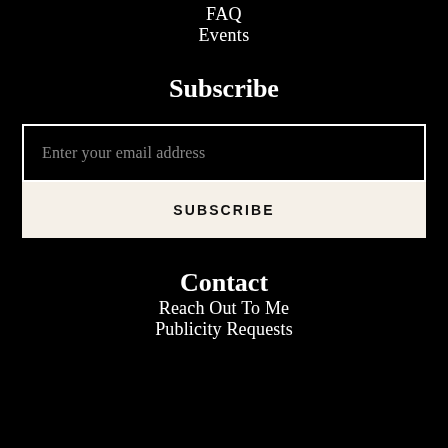FAQ
Events
Subscribe
Enter your email address
SUBSCRIBE
Contact
Reach Out To Me
Publicity Requests